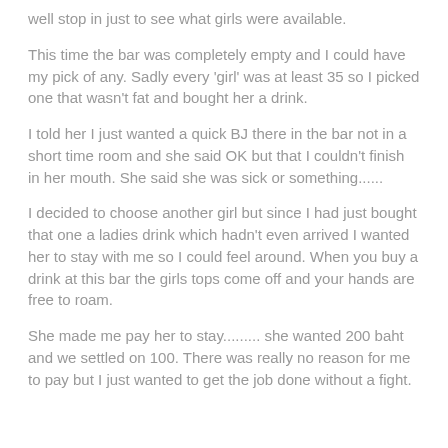well stop in just to see what girls were available.
This time the bar was completely empty and I could have my pick of any. Sadly every 'girl' was at least 35 so I picked one that wasn't fat and bought her a drink.
I told her I just wanted a quick BJ there in the bar not in a short time room and she said OK but that I couldn't finish in her mouth. She said she was sick or something......
I decided to choose another girl but since I had just bought that one a ladies drink which hadn't even arrived I wanted her to stay with me so I could feel around. When you buy a drink at this bar the girls tops come off and your hands are free to roam.
She made me pay her to stay......... she wanted 200 baht and we settled on 100. There was really no reason for me to pay but I just wanted to get the job done without a fight.